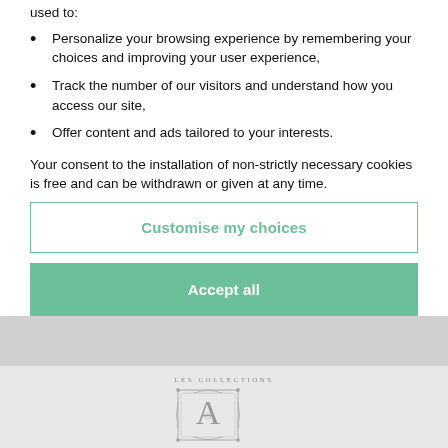used to:
Personalize your browsing experience by remembering your choices and improving your user experience,
Track the number of our visitors and understand how you access our site,
Offer content and ads tailored to your interests.
Your consent to the installation of non-strictly necessary cookies is free and can be withdrawn or given at any time.
Customise my choices
Accept all
[Figure (logo): Aristophil Les Collections logo — decorative letter A with ornamental frame and text LES COLLECTIONS above, ARISTOPHIL below]